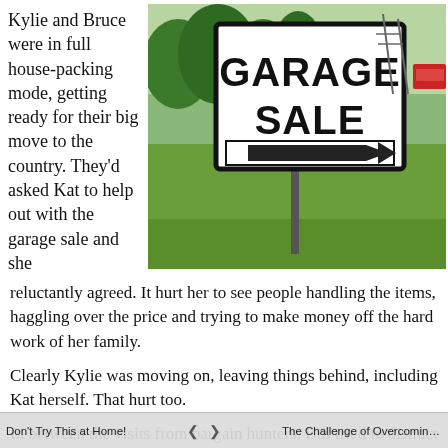Kylie and Bruce were in full house-packing mode, getting ready for their big move to the country. They'd asked Kat to help out with the garage sale and she
[Figure (photo): A 'Garage Sale' sign with a black arrow pointing right, planted in a grassy roadside area with trees in the background.]
reluctantly agreed. It hurt her to see people handling the items, haggling over the price and trying to make money off the hard work of her family.

Clearly Kylie was moving on, leaving things behind, including Kat herself. That hurt too.

In between the visits from bargain hunters, Bill tried to distract her with the absurd suggestion that they might also make a move. “A tree change might do us some good too Kat”, Bill said. “What on earth are you talking about Bill? I’m perfectly happy
Don't Try This at Home!   <   >   The Challenge of Overcoming H...